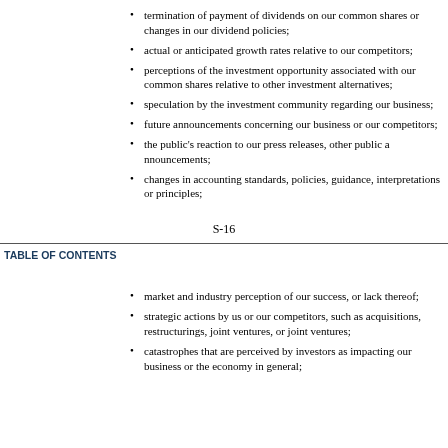termination of payment of dividends on our common shares or changes in our dividend policies;
actual or anticipated growth rates relative to our competitors;
perceptions of the investment opportunity associated with our common shares relative to other investment alternatives;
speculation by the investment community regarding our business;
future announcements concerning our business or our competitors;
the public's reaction to our press releases, other public announcements;
changes in accounting standards, policies, guidance, interpretations or principles;
S-16
TABLE OF CONTENTS
market and industry perception of our success, or lack thereof;
strategic actions by us or our competitors, such as acquisitions, restructurings, joint ventures, or joint ventures;
catastrophes that are perceived by investors as impacting our business or the economy in general;